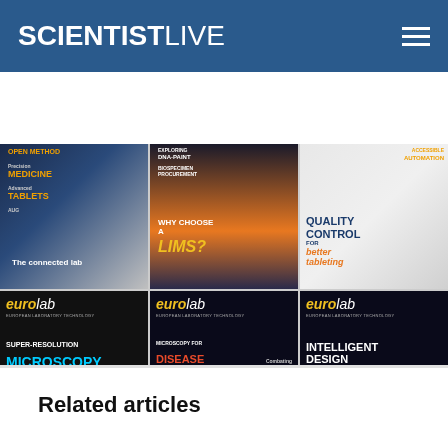SCIENTIST LIVE
[Figure (photo): Grid of 6 magazine covers: top row shows three scientific magazine covers (connected lab, LIMS, quality control tableting), bottom row shows three Eurolab magazine covers (Super-Resolution Microscopy, Disease Diagnosis/COVID-19/Top-Quality Tableting, Intelligent Design)]
Related articles